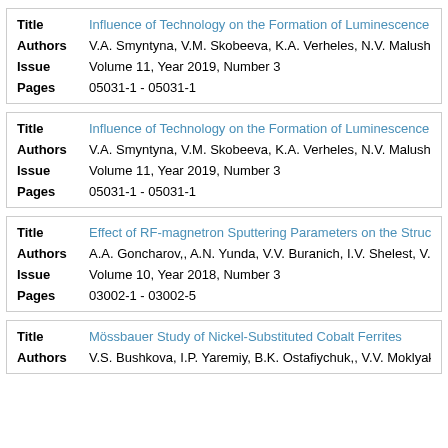| Field | Value |
| --- | --- |
| Title | Influence of Technology on the Formation of Luminescence C... |
| Authors | V.A. Smyntyna, V.M. Skobeeva, K.A. Verheles, N.V. Malushin... |
| Issue | Volume 11, Year 2019, Number 3 |
| Pages | 05031-1 - 05031-1 |
| Field | Value |
| --- | --- |
| Title | Influence of Technology on the Formation of Luminescence C... |
| Authors | V.A. Smyntyna, V.M. Skobeeva, K.A. Verheles, N.V. Malushin... |
| Issue | Volume 11, Year 2019, Number 3 |
| Pages | 05031-1 - 05031-1 |
| Field | Value |
| --- | --- |
| Title | Effect of RF-magnetron Sputtering Parameters on the Structu... |
| Authors | A.A. Goncharov,, A.N. Yunda, V.V. Buranich, I.V. Shelest, V.B.... |
| Issue | Volume 10, Year 2018, Number 3 |
| Pages | 03002-1 - 03002-5 |
| Field | Value |
| --- | --- |
| Title | Mössbauer Study of Nickel-Substituted Cobalt Ferrites |
| Authors | V.S. Bushkova, I.P. Yaremiy, B.K. Ostafiychuk,, V.V. Moklyak,... |